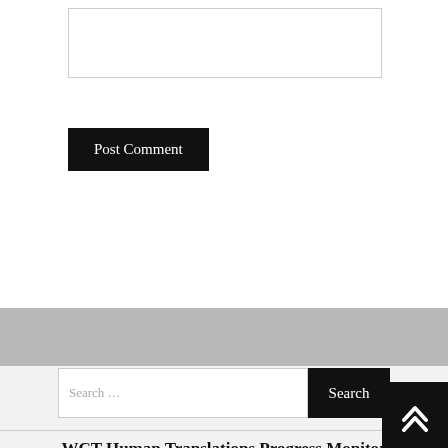[Figure (screenshot): Textarea input box, empty, with border]
Post Comment
[Figure (screenshot): Search bar with placeholder 'Search ...' and black Search button]
WCT Human Translations Progress Monitor
WCT Heretics Division Translation Progress Monitor